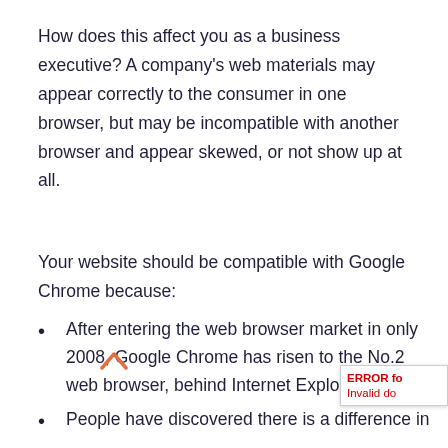How does this affect you as a business executive? A company's web materials may appear correctly to the consumer in one browser, but may be incompatible with another browser and appear skewed, or not show up at all.
Your website should be compatible with Google Chrome because:
After entering the web browser market in only 2008, Google Chrome has risen to the No.2 web browser, behind Internet Explorer
People have discovered there is a difference in